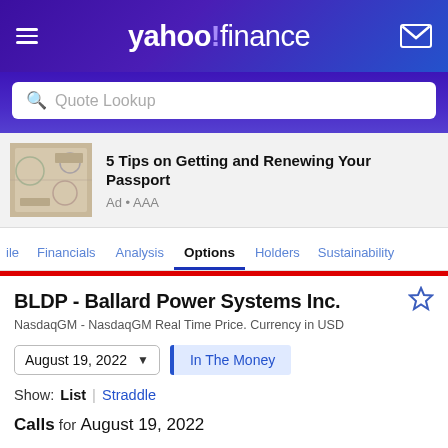yahoo! finance
Quote Lookup
[Figure (photo): Passport pages with stamps]
5 Tips on Getting and Renewing Your Passport
Ad • AAA
ile  Financials  Analysis  Options  Holders  Sustainability
BLDP - Ballard Power Systems Inc.
NasdaqGM - NasdaqGM Real Time Price. Currency in USD
August 19, 2022
In The Money
Show: List | Straddle
Calls for August 19, 2022